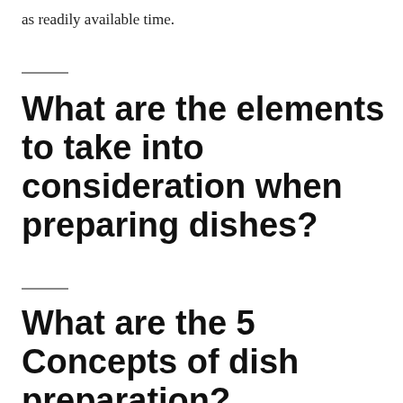as readily available time.
What are the elements to take into consideration when preparing dishes?
What are the 5 Concepts of dish preparation?